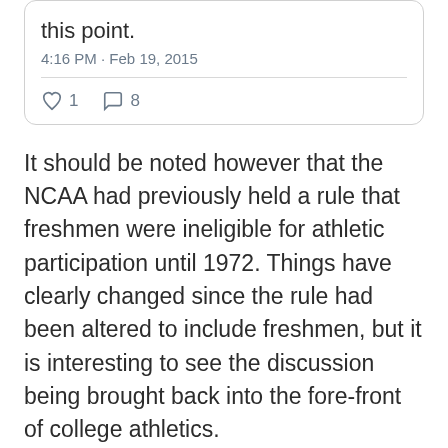[Figure (screenshot): Tweet card showing partial tweet text 'this point.' with timestamp '4:16 PM · Feb 19, 2015' and engagement icons: heart icon with count 1, comment icon with count 8]
It should be noted however that the NCAA had previously held a rule that freshmen were ineligible for athletic participation until 1972. Things have clearly changed since the rule had been altered to include freshmen, but it is interesting to see the discussion being brought back into the fore-front of college athletics.
Original news and quotes taken from ESPN.com, along with John Pitts...